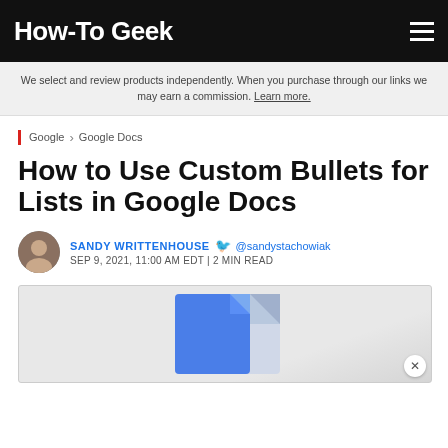How-To Geek
We select and review products independently. When you purchase through our links we may earn a commission. Learn more.
Google › Google Docs
How to Use Custom Bullets for Lists in Google Docs
SANDY WRITTENHOUSE @sandystachowiak SEP 9, 2021, 11:00 AM EDT | 2 MIN READ
[Figure (illustration): Hero image showing Google Docs icon/logo with a blue document icon on a light gray background]